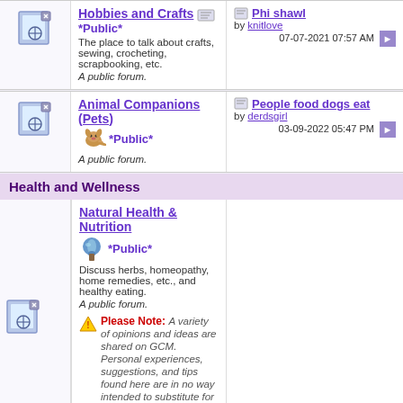Hobbies and Crafts *Public* - The place to talk about crafts, sewing, crocheting, scrapbooking, etc. A public forum.
Phi shawl by knitlove 07-07-2021 07:57 AM
Animal Companions (Pets) *Public* - A public forum.
People food dogs eat by derdsgirl 03-09-2022 05:47 PM
Health and Wellness
Natural Health & Nutrition *Public* Discuss herbs, homeopathy, home remedies, etc., and healthy eating. A public forum. Please Note: A variety of opinions and ideas are shared on GCM. Personal experiences, suggestions, and tips found here are in no way intended to substitute for medical counsel from a healthcare professional. Always use your own good judgement and seek professional
Magnesium citrate has helped... by RiverRock 07-07-2022 03:39 PM